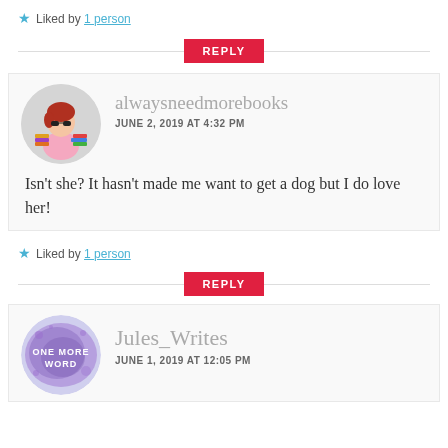★ Liked by 1 person
REPLY
[Figure (illustration): Circular avatar of a cartoon woman with red hair, sunglasses and a pink top, sitting with stacked colorful books around her, on a gray circle background.]
alwaysneedmorebooks
JUNE 2, 2019 AT 4:32 PM
Isn't she? It hasn't made me want to get a dog but I do love her!
★ Liked by 1 person
REPLY
[Figure (illustration): Circular avatar with a purple watercolor splash background and text reading 'ONE MORE WORD' in white.]
Jules_Writes
JUNE 1, 2019 AT 12:05 PM